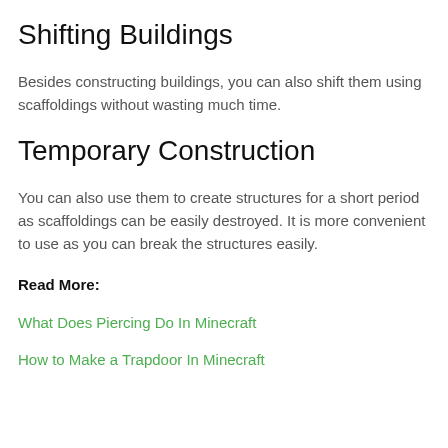Shifting Buildings
Besides constructing buildings, you can also shift them using scaffoldings without wasting much time.
Temporary Construction
You can also use them to create structures for a short period as scaffoldings can be easily destroyed. It is more convenient to use as you can break the structures easily.
Read More:
What Does Piercing Do In Minecraft
How to Make a Trapdoor In Minecraft